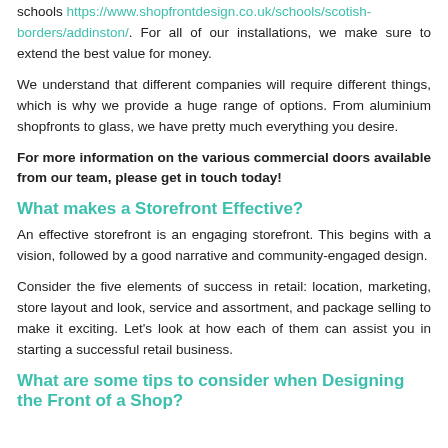schools https://www.shopfrontdesign.co.uk/schools/scotish-borders/addinston/. For all of our installations, we make sure to extend the best value for money.
We understand that different companies will require different things, which is why we provide a huge range of options. From aluminium shopfronts to glass, we have pretty much everything you desire.
For more information on the various commercial doors available from our team, please get in touch today!
What makes a Storefront Effective?
An effective storefront is an engaging storefront. This begins with a vision, followed by a good narrative and community-engaged design.
Consider the five elements of success in retail: location, marketing, store layout and look, service and assortment, and package selling to make it exciting. Let's look at how each of them can assist you in starting a successful retail business.
What are some tips to consider when Designing the Front of a Shop?